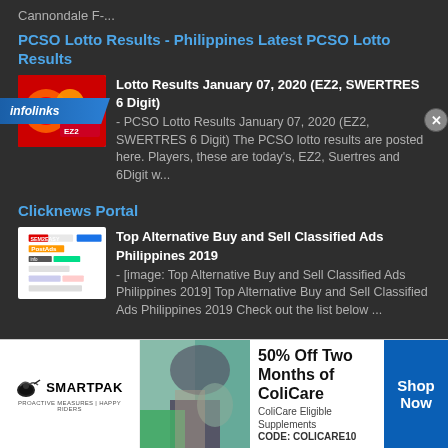Cannondale F-...
PCSO Lotto Results - Philippines Latest PCSO Lotto Results
Lotto Results January 07, 2020 (EZ2, SWERTRES 6 Digit) - PCSO Lotto Results January 07, 2020 (EZ2, SWERTRES 6 Digit) The PCSO lotto results are posted here. Players, these are today's, EZ2, Suertres and 6Digit w...
Clicknews Portal
Top Alternative Buy and Sell Classified Ads Philippines 2019 - [image: Top Alternative Buy and Sell Classified Ads Philippines 2019] Top Alternative Buy and Sell Classified Ads Philippines 2019 Check out the list below ...
[Figure (screenshot): infolinks bar at bottom left of dark content area]
[Figure (infographic): SmartPak advertisement banner: 50% Off Two Months of ColiCare, ColiCare Eligible Supplements, CODE: COLICARE10, Shop Now button]